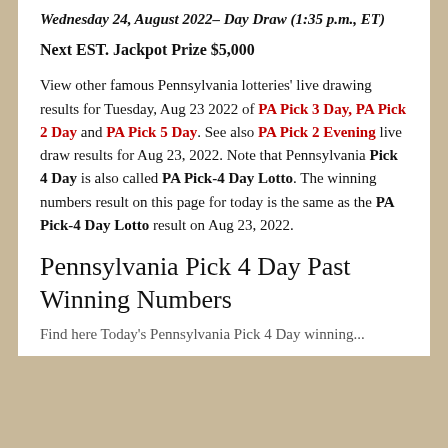Wednesday 24, August 2022– Day Draw (1:35 p.m., ET)
Next EST. Jackpot Prize $5,000
View other famous Pennsylvania lotteries' live drawing results for Tuesday, Aug 23 2022 of PA Pick 3 Day, PA Pick 2 Day and PA Pick 5 Day. See also PA Pick 2 Evening live draw results for Aug 23, 2022. Note that Pennsylvania Pick 4 Day is also called PA Pick-4 Day Lotto. The winning numbers result on this page for today is the same as the PA Pick-4 Day Lotto result on Aug 23, 2022.
Pennsylvania Pick 4 Day Past Winning Numbers
Find here Today's Pennsylvania Pick 4 Day winning...